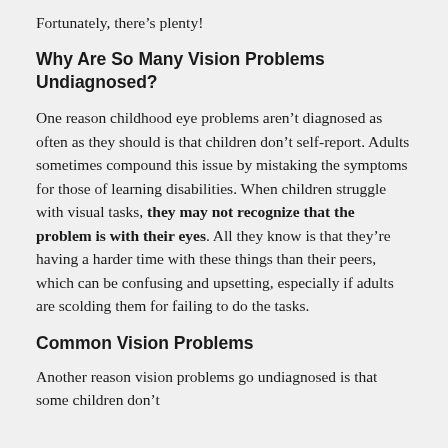Fortunately, there’s plenty!
Why Are So Many Vision Problems Undiagnosed?
One reason childhood eye problems aren’t diagnosed as often as they should is that children don’t self-report. Adults sometimes compound this issue by mistaking the symptoms for those of learning disabilities. When children struggle with visual tasks, they may not recognize that the problem is with their eyes. All they know is that they’re having a harder time with these things than their peers, which can be confusing and upsetting, especially if adults are scolding them for failing to do the tasks.
Common Vision Problems
Another reason vision problems go undiagnosed is that some children don’t...